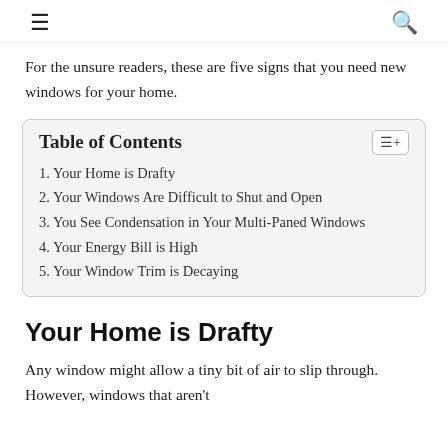☰ 🔍
For the unsure readers, these are five signs that you need new windows for your home.
| Table of Contents |
| --- |
| 1. Your Home is Drafty |
| 2. Your Windows Are Difficult to Shut and Open |
| 3. You See Condensation in Your Multi-Paned Windows |
| 4. Your Energy Bill is High |
| 5. Your Window Trim is Decaying |
Your Home is Drafty
Any window might allow a tiny bit of air to slip through. However, windows that aren't